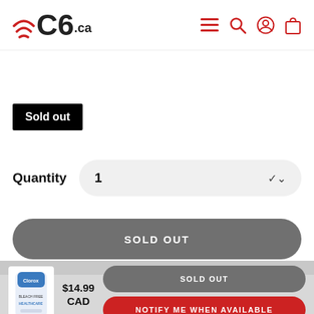C6.ca — navigation header with logo and icons
Sold out
Quantity  1
SOLD OUT
SOLD OUT
$14.99 CAD
NOTIFY ME WHEN AVAILABLE